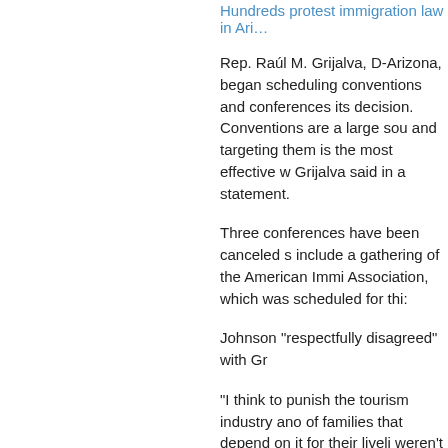Hundreds protest immigration law in Ari…
Rep. Raúl M. Grijalva, D-Arizona, began scheduling conventions and conferences its decision. Conventions are a large sou and targeting them is the most effective w Grijalva said in a statement.
Three conferences have been canceled s include a gathering of the American Immi Association, which was scheduled for thi:
Johnson "respectfully disagreed" with Gr
"I think to punish the tourism industry ano of families that depend on it for their liveli weren't involved in the development of th
McCain defends Arizona's immigration la
Angry voices
In California, San Francisco City Attorney an end of all business with the state of A…